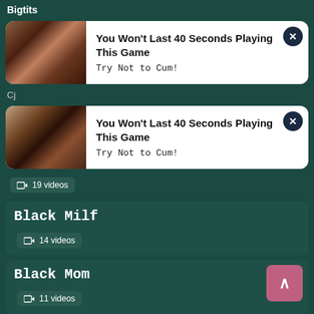Bigtits
[Figure (screenshot): Advertisement popup card with thumbnail: You Won't Last 40 Seconds Playing This Game - Try Not to Cum!]
[Figure (screenshot): Advertisement popup card with thumbnail: You Won't Last 40 Seconds Playing This Game - Try Not to Cum!]
19 videos
Black Milf
14 videos
Black Mom
11 videos